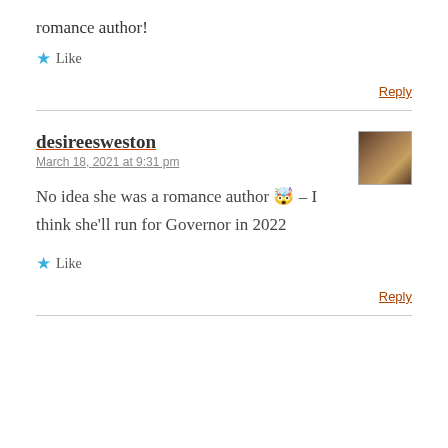romance author!
★ Like
Reply
desireesweston
March 18, 2021 at 9:31 pm
No idea she was a romance author 🤯 – I think she'll run for Governor in 2022
★ Like
Reply